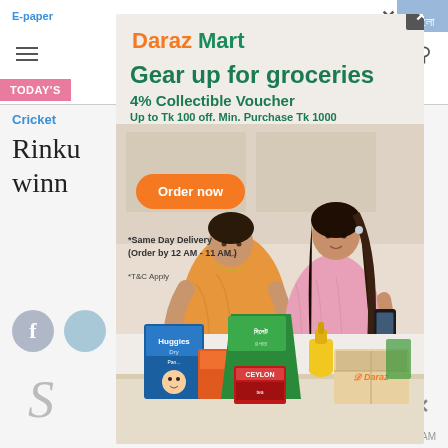E-paper | বাংলা
TODAY'S
Cricket
Rinku    to winn
[Figure (illustration): Daraz Mart advertisement overlay showing two women looking at a phone and grocery products including Huggies diapers, Ceylon Family Blend tea, and a Daraz delivery box. Text reads: Daraz Mart, Gear up for groceries, 4% Collectible Voucher, Up to Tk 100 off. Min. Purchase Tk 1000, Order now, *Same Day Delivery (Order by 12 AM - 11 AM), *T&C Apply]
01:33 AM